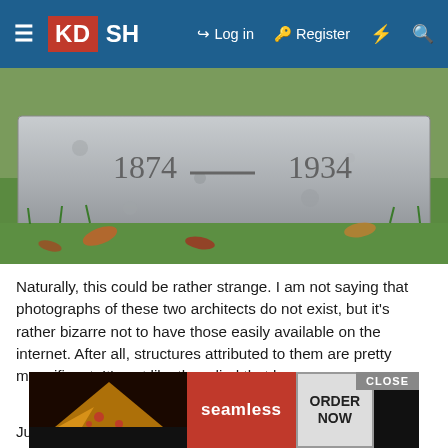KDSH — Log in   Register
[Figure (photo): Close-up photograph of a flat granite gravestone showing the dates 1874 — 1934, surrounded by grass and fallen autumn leaves.]
Naturally, this could be rather strange. I am not saying that photographs of these two architects do not exist, but it's rather bizarre not to have those easily available on the internet. After all, structures attributed to them are pretty magnificent. It's not like they died that long ago.
Walter Robb Wilder: 1875-1934
Harry Keith White: 1877-1966
Just like